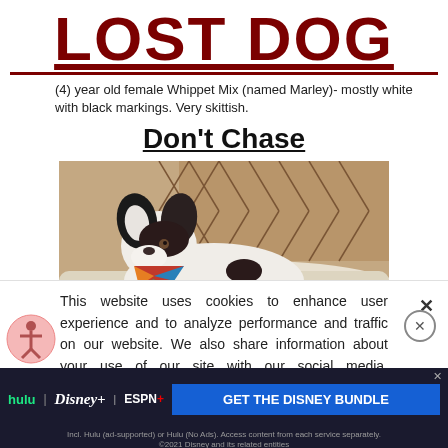LOST DOG
(4) year old female Whippet Mix (named Marley)- mostly white with black markings. Very skittish.
Don't Chase
[Figure (photo): A black and white Whippet Mix dog named Marley wearing a colorful bandana, lying against a patterned rug/blanket background.]
This website uses cookies to enhance user experience and to analyze performance and traffic on our website. We also share information about your use of our site with our social media, advertising and analytics partners. By accepting cookies, you are also agreeing to accept our site terms and conditions. Terms & Conditions
[Figure (infographic): Disney Bundle advertisement banner showing Hulu, Disney+, and ESPN+ logos with 'GET THE DISNEY BUNDLE' call to action. Fine print: Incl. Hulu (ad-supported) or Hulu (No Ads). Access content from each service separately. ©2021 Disney and its related entities]